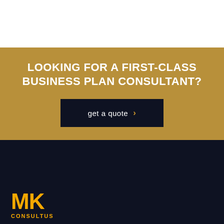LOOKING FOR A FIRST-CLASS BUSINESS PLAN CONSULTANT?
get a quote >
[Figure (logo): MK Consultus logo: bold yellow MK text with CONSULTUS below in yellow uppercase letters on dark navy background]
MK Consultus LLP is a legal firm providing dispute avoidance,